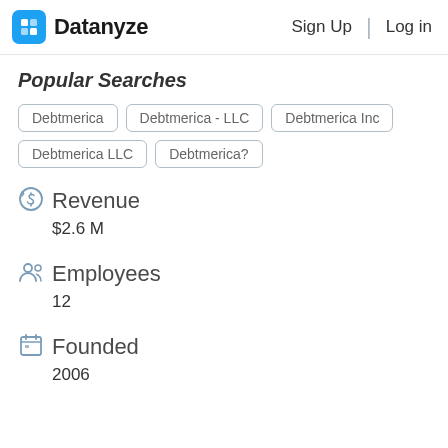Datanyze  Sign Up  Log in
Popular Searches
Debtmerica
Debtmerica - LLC
Debtmerica Inc
Debtmerica LLC
Debtmerica?
Revenue
$2.6 M
Employees
12
Founded
2006